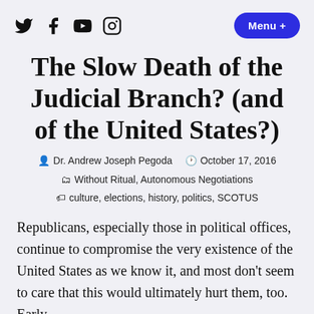Twitter Facebook YouTube Instagram | Menu +
The Slow Death of the Judicial Branch? (and of the United States?)
Dr. Andrew Joseph Pegoda · October 17, 2016 · Without Ritual, Autonomous Negotiations · culture, elections, history, politics, SCOTUS
Republicans, especially those in political offices, continue to compromise the very existence of the United States as we know it, and most don't seem to care that this would ultimately hurt them, too. Early